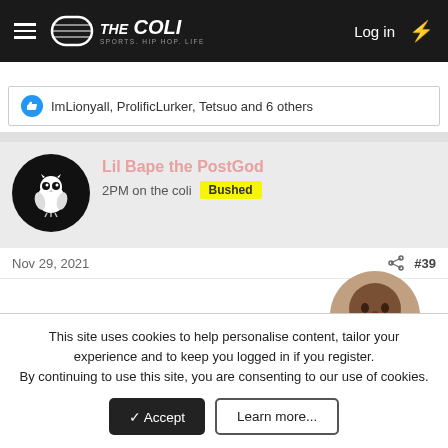THE COLI — Log in
ImLionyall, ProlificLurker, Tetsuo and 6 others
Lil Bape the PostGod
2PM on the coli  Bushed
Nov 29, 2021  #39
[Figure (photo): Photo of a man's face, circular cropped, used as post image]
He invented sex
This site uses cookies to help personalise content, tailor your experience and to keep you logged in if you register.
By continuing to use this site, you are consenting to our use of cookies.